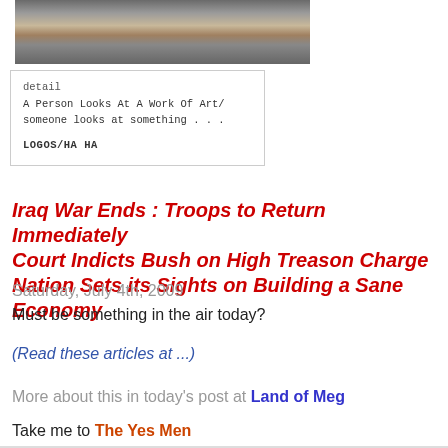[Figure (photo): A person's hand holding or looking at a newspaper/artwork, close-up photo]
detail
A Person Looks At A Work Of Art/ someone looks at something . . .

LOGOS/HA HA
Iraq War Ends : Troops to Return Immediately Court Indicts Bush on High Treason Charge Nation Sets its Sights on Building a Sane Economy
Saturday, July 4th, 2009
Must be something in the air today?
(Read these articles at ...)
More about this in today's post at Land of Meg
Take me to The Yes Men